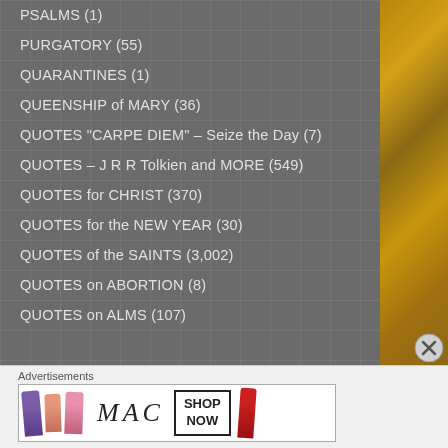PSALMS (1)
PURGATORY (55)
QUARANTINES (1)
QUEENSHIP of MARY (36)
QUOTES "CARPE DIEM" – Seize the Day (7)
QUOTES – J R R Tolkien and MORE (549)
QUOTES for CHRIST (370)
QUOTES for the NEW YEAR (30)
QUOTES of the SAINTS (3,002)
QUOTES on ABORTION (8)
QUOTES on ALMS (107)
Advertisements